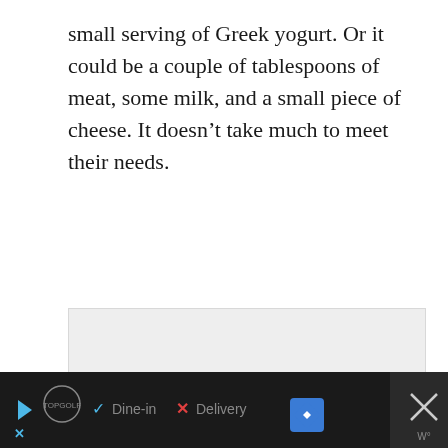small serving of Greek yogurt. Or it could be a couple of tablespoons of meat, some milk, and a small piece of cheese. It doesn’t take much to meet their needs.
[Figure (other): A light gray placeholder image box with three small gray dots centered in the lower portion, indicating a loading image or carousel.]
[Figure (other): A dark advertisement bar at the bottom of the page featuring a TopGolf logo, play and X icons in blue, checkmark icon, 'Dine-in' text, red X, 'Delivery' text, a blue navigation diamond icon, and a close button area on the right.]